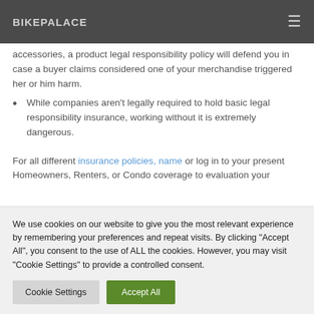BIKEPALACE
accessories, a product legal responsibility policy will defend you in case a buyer claims considered one of your merchandise triggered her or him harm.
While companies aren't legally required to hold basic legal responsibility insurance, working without it is extremely dangerous.
For all different insurance policies, name or log in to your present Homeowners, Renters, or Condo coverage to evaluation your
We use cookies on our website to give you the most relevant experience by remembering your preferences and repeat visits. By clicking "Accept All", you consent to the use of ALL the cookies. However, you may visit "Cookie Settings" to provide a controlled consent.